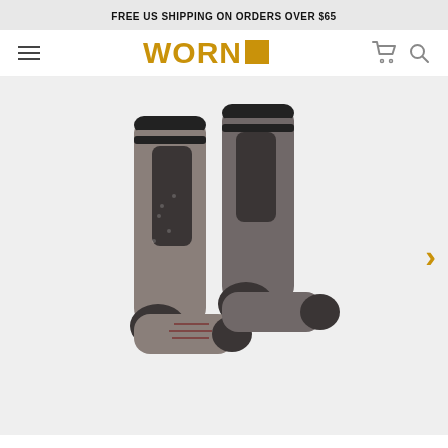FREE US SHIPPING ON ORDERS OVER $65
[Figure (logo): WORN logo with orange/gold text and an orange square]
[Figure (photo): Two knee-high merino wool hiking/ski socks in gray and dark charcoal with black stripe at top, displayed on white/light gray background. Forward right arrow chevron in gold on the right side.]